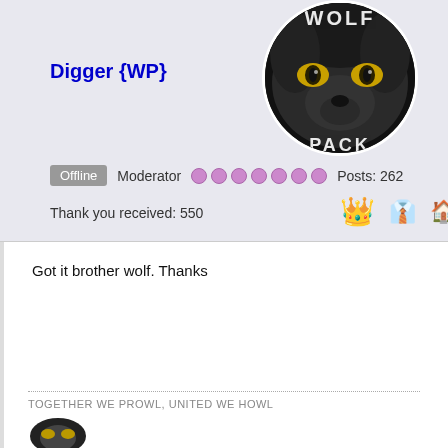[Figure (photo): Wolf avatar image in a circular frame showing a wolf's face with yellow eyes and text 'WOLF PACK' partially visible]
Digger {WP}
Offline   Moderator   ●●●●●●●   Posts: 262
Thank you received: 550
Got it brother wolf. Thanks
TOGETHER WE PROWL, UNITED WE HOWL
[Figure (illustration): Partial circular avatar at bottom of page]